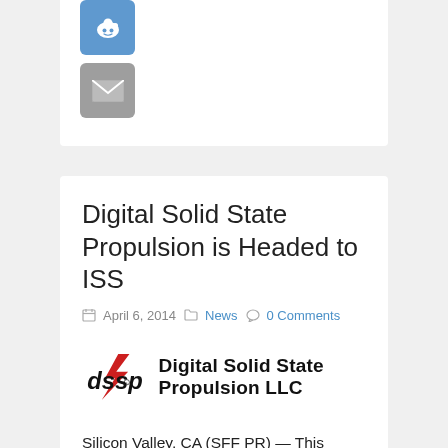[Figure (logo): Reddit share button icon (blue rounded square with Reddit alien logo)]
[Figure (logo): Email share button icon (grey rounded square with envelope)]
Digital Solid State Propulsion is Headed to ISS
April 6, 2014  News  0 Comments
[Figure (logo): Digital Solid State Propulsion LLC logo with stylized dssp text and red lightning bolt, followed by company name]
Silicon Valley, CA (SFF PR) — This summer, Digital Solid State Propulsion's microthruster will be deployed from the International Space Station (ISS) aboard the SpinSat